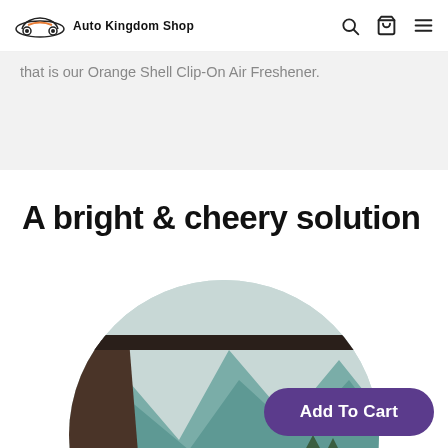Auto Kingdom Shop
that is our Orange Shell Clip-On Air Freshener.
A bright & cheery solution
[Figure (photo): Circular cropped photo taken from inside a car showing a steering wheel in the foreground and a scenic mountain landscape through the windshield]
Add To Cart